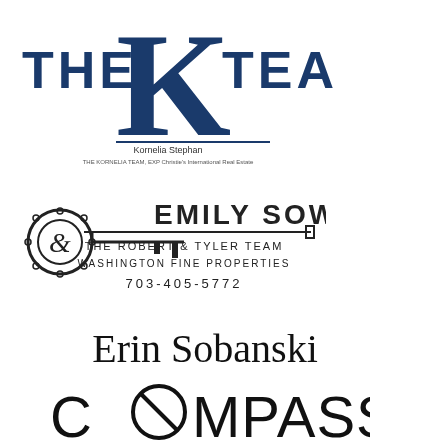[Figure (logo): The K Team logo with large navy blue K and 'THE' and 'TEAM' text flanking it, with 'Kornelia Stephan' and subtitle text below]
[Figure (logo): Emily Sower logo with ornate key icon, name in serif caps, 'THE ROBERT & TYLER TEAM', 'WASHINGTON FINE PROPERTIES', '703-405-5772']
[Figure (logo): Erin Sobanski name in elegant serif font]
[Figure (logo): Compass real estate logo in bold sans-serif with compass icon replacing the O]